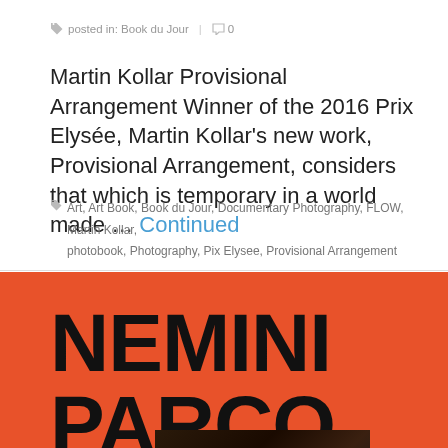posted in: Book du Jour | 0
Martin Kollar Provisional Arrangement Winner of the 2016 Prix Elysée, Martin Kollar's new work, Provisional Arrangement, considers that which is temporary in a world made … Continued
Art, Art Book, Book du Jour, Documentary Photography, FLOW, Martin Kollar, photobook, Photography, Pix Elysee, Provisional Arrangement
[Figure (photo): Orange background book cover with bold black text reading NEMINI PARCO and a dark photo of a person below]